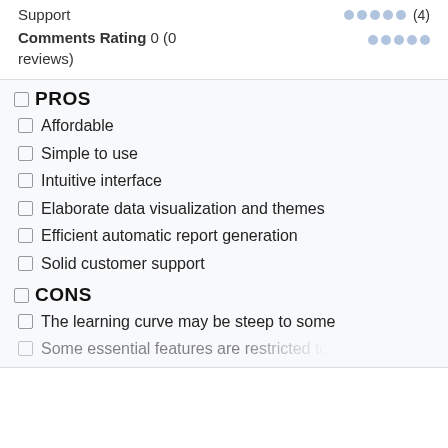Support (4)
Comments Rating 0 (0 reviews)
PROS
Affordable
Simple to use
Intuitive interface
Elaborate data visualization and themes
Efficient automatic report generation
Solid customer support
CONS
The learning curve may be steep to some
Some essential features are restricted to